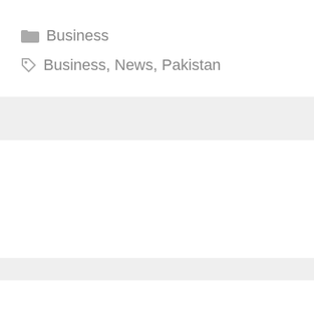Business
Business, News, Pakistan
https://picoworkers.com/?a=0351adc0